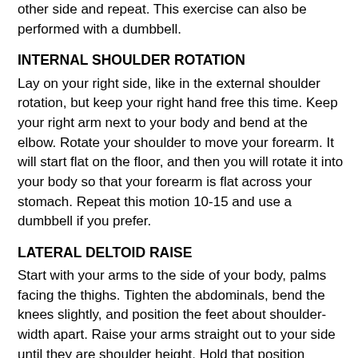other side and repeat. This exercise can also be performed with a dumbbell.
INTERNAL SHOULDER ROTATION
Lay on your right side, like in the external shoulder rotation, but keep your right hand free this time. Keep your right arm next to your body and bend at the elbow. Rotate your shoulder to move your forearm. It will start flat on the floor, and then you will rotate it into your body so that your forearm is flat across your stomach. Repeat this motion 10-15 and use a dumbbell if you prefer.
LATERAL DELTOID RAISE
Start with your arms to the side of your body, palms facing the thighs. Tighten the abdominals, bend the knees slightly, and position the feet about shoulder-width apart. Raise your arms straight out to your side until they are shoulder height. Hold that position briefly, and slowly return your arms to your sides.
FRONT DELTOID RAISE
Start with your arms in front of your body, palms facing the thighs. Tighten the abdominals, bend the knees slightly,